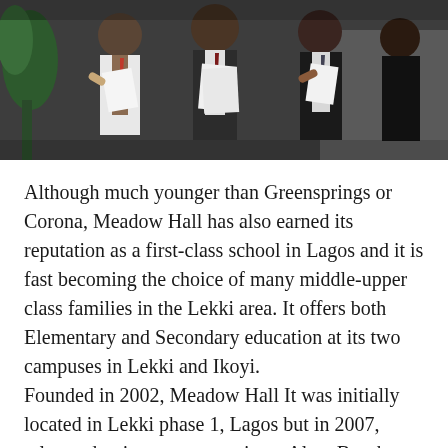[Figure (photo): School children in uniforms (white shirts, ties, dark blazers) holding papers, appearing to be celebrating or excited.]
Although much younger than Greensprings or Corona, Meadow Hall has also earned its reputation as a first-class school in Lagos and it is fast becoming the choice of many middle-upper class families in the Lekki area. It offers both Elementary and Secondary education at its two campuses in Lekki and Ikoyi.
Founded in 2002, Meadow Hall It was initially located in Lekki phase 1, Lagos but in 2007, relocated to its permanent site at Alma Beach Estate, Lekki, Lagos.
The Junior Section of the school comprises six-year